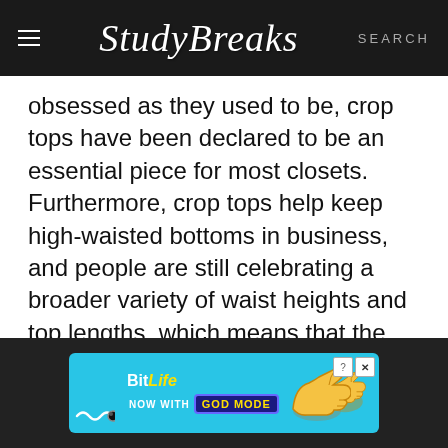Study Breaks  SEARCH
obsessed as they used to be, crop tops have been declared to be an essential piece for most closets. Furthermore, crop tops help keep high-waisted bottoms in business, and people are still celebrating a broader variety of waist heights and top lengths, which means that the crop top will survive the transition into the next decade.
[Figure (illustration): BitLife advertisement banner with 'NOW WITH GOD MODE' text on a light blue background with a cartoon pointing hand graphic]